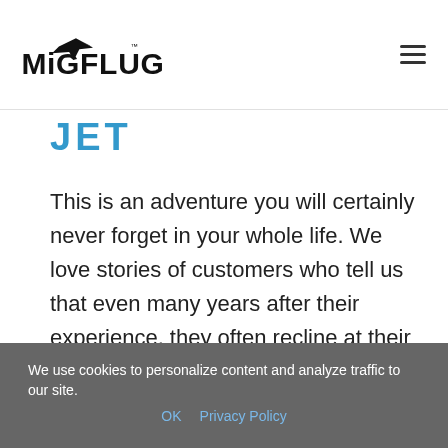MiGFLUG
JET
This is an adventure you will certainly never forget in your whole life. We love stories of customers who tell us that even many years after their experience, they often recline at their desk, think back of this magic moments and just can’t stop smiling. Or that not a single day has passed since the jet flight took place that
We use cookies to personalize content and analyze traffic to our site. OK Privacy Policy